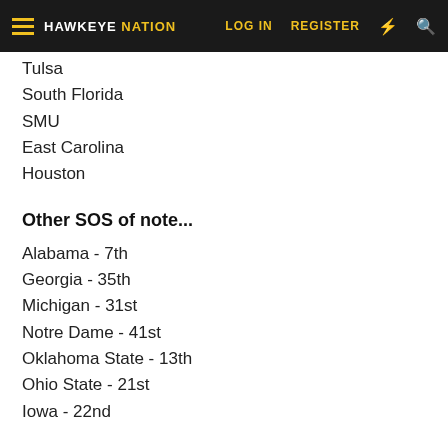HAWKEYE NATION | LOG IN  REGISTER
Tulsa
South Florida
SMU
East Carolina
Houston
Other SOS of note...
Alabama - 7th
Georgia - 35th
Michigan - 31st
Notre Dame - 41st
Oklahoma State - 13th
Ohio State - 21st
Iowa - 22nd
You have to go all the way to Appalachian State in 41st place in the Sagarin rankings to find a team with an easier strength of schedule. Until Cincinnati has to play real football teams in B5...